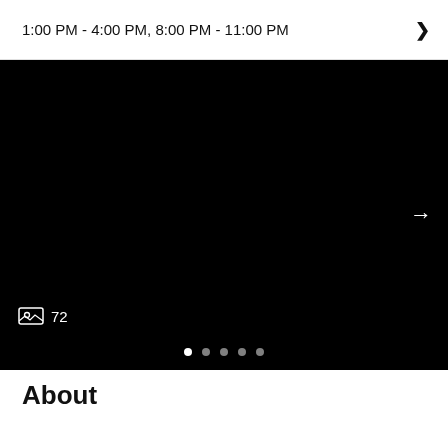1:00 PM - 4:00 PM, 8:00 PM - 11:00 PM
[Figure (photo): Large black photo slideshow panel with a right navigation arrow, a photo count badge showing a picture icon and '72', pagination dots (5 dots, first one active/white), displayed against a black background.]
About